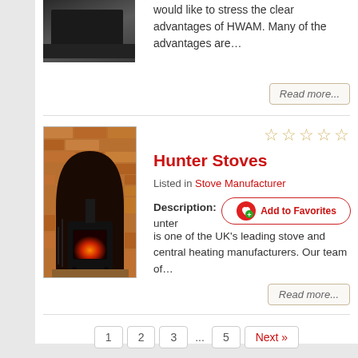[Figure (photo): Top listing product image - partial view of a dark/black appliance]
would like to stress the clear advantages of HWAM. Many of the advantages are…
Read more...
[Figure (photo): Hunter Stoves - photo of a wood-burning stove installed in a brick fireplace with arched surround]
Hunter Stoves
Listed in Stove Manufacturer
Add to Favorites
Description: unter is one of the UK's leading stove and central heating manufacturers. Our team of…
Read more...
1
2
3
...
5
Next »